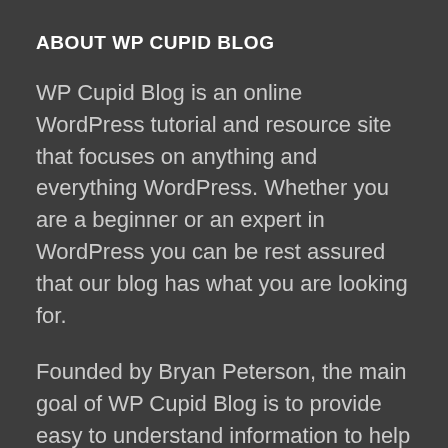ABOUT WP CUPID BLOG
WP Cupid Blog is an online WordPress tutorial and resource site that focuses on anything and everything WordPress. Whether you are a beginner or an expert in WordPress you can be rest assured that our blog has what you are looking for.
Founded by Bryan Peterson, the main goal of WP Cupid Blog is to provide easy to understand information to help any and everyone become confident in